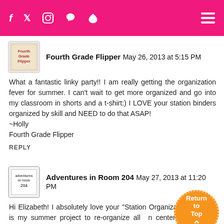Navigation bar with social icons and hamburger menu
Fourth Grade Flipper May 26, 2013 at 5:15 PM
What a fantastic linky party!! I am really getting the organization fever for summer. I can't wait to get more organized and go into my classroom in shorts and a t-shirt:) I LOVE your station binders organized by skill and NEED to do that ASAP!
~Holly
Fourth Grade Flipper
REPLY
Adventures in Room 204 May 27, 2013 at 11:20 PM
Hi Elizabeth! I absolutely love your "Station Organiza... idea. That is my summer project to re-organize all ... centers/stations by skills and chapter so that whe... ...o that skill, I can quickly grab the new centers so they are ready